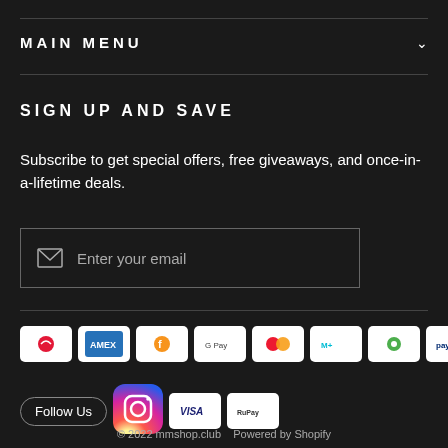MAIN MENU
SIGN UP AND SAVE
Subscribe to get special offers, free giveaways, and once-in-a-lifetime deals.
Enter your email
[Figure (other): Payment method icons: Airtel, Amex, Facebook Pay, Google Pay, Mastercard, Mobikwik, Ola Money, Paytm, and more including RuPay, Visa]
Follow Us
[Figure (logo): Instagram logo]
Chat with us
© 2022 mmshop.club   Powered by Shopify